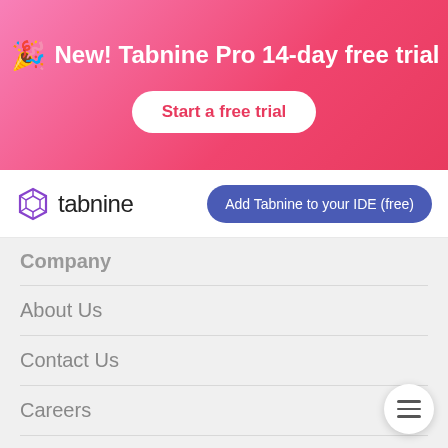New! Tabnine Pro 14-day free trial
Start a free trial
[Figure (logo): Tabnine logo with hexagonal icon and text 'tabnine']
Add Tabnine to your IDE (free)
Company
About Us
Contact Us
Careers
Resources
FAQ